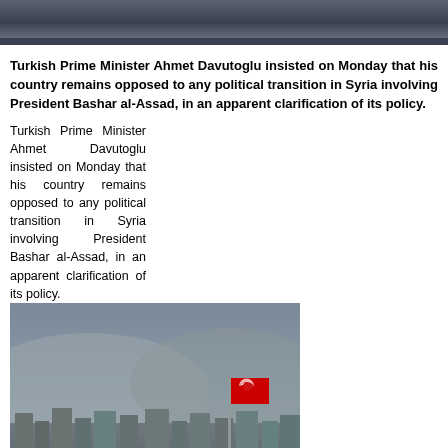[Figure (photo): Top banner photograph, dark interior scene]
Turkish Prime Minister Ahmet Davutoglu insisted on Monday that his country remains opposed to any political transition in Syria involving President Bashar al-Assad, in an apparent clarification of its policy.
Turkish Prime Minister Ahmet Davutoglu insisted on Monday that his country remains opposed to any political transition in Syria involving President Bashar al-Assad, in an apparent clarification of its policy.
[Figure (photo): Aerial/elevated view of a city skyline with a red Turkish flag on a flagpole in the foreground, hilly landscape in the background]
Turkey has been Assad's most outspoken critic since Syria rocked by a violent unrest in 2011, blaming him for violence that has killed hundreds of thousands and displaced millions more.